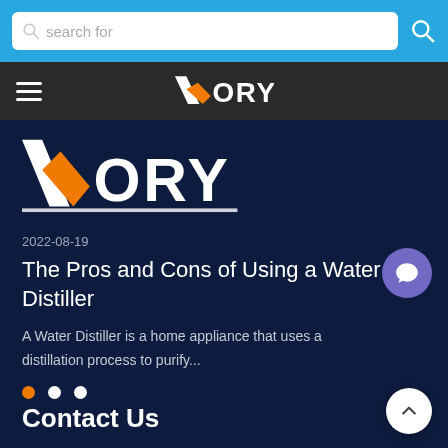search for
[Figure (logo): VORY brand logo in dark navigation bar, white text with orange accent checkmark]
[Figure (logo): Large VORY brand logo on dark navy background, bold white text with orange accent]
2022-08-19
The Pros and Cons of Using a Water Distiller
A Water Distiller is a home appliance that uses a distillation process to purify...
Contact Us